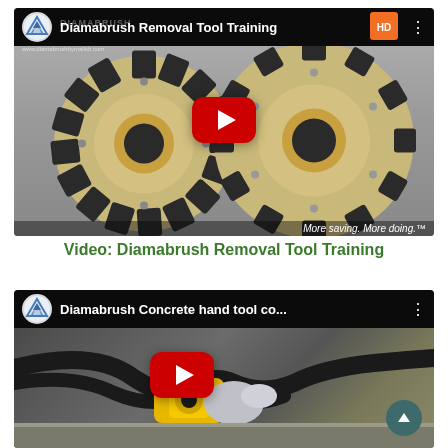[Figure (screenshot): YouTube video thumbnail for 'Diamabrush Removal Tool Training' showing two circular grinding/removal tool discs on a gray background with a red YouTube play button in the center. Video has Diamabrush and Home Depot branding. Bottom right corner shows 'More saving. More doing.' tagline.]
Video: Diamabrush Removal Tool Training
[Figure (screenshot): YouTube video thumbnail for 'Diamabrush Concrete hand tool co...' showing a close-up of a yellow power tool being used on concrete, with a red YouTube play button in the center. A dark teal scroll-to-top arrow button appears in the lower right.]